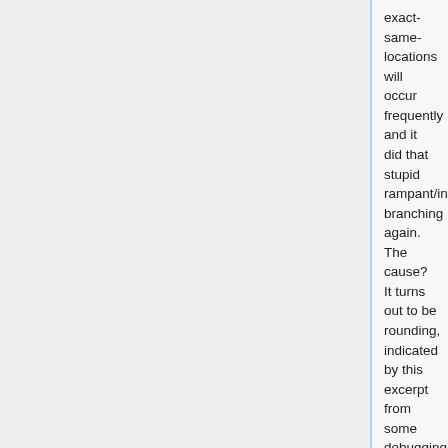exact-same-locations will occur frequently and it did that stupid rampant/infinite branching again. The cause? It turns out to be rounding, indicated by this excerpt from some debugging messages.
...
Split Dimension: 1, Split Value: 1.0, Range: 0.9999999999999999 to 1.0, Width: -1.1102230246251565E-16
Split Dimension: 1, Split Value: 1.0, Range: 0.9999999999999999 to 1.0, Width: -1.1102230246251565E-16
Split Dimension: 1, Split Value: 1.0, Range: 0.9999999999999999 to 1.0, Width:
-1.1102230246251565E-16